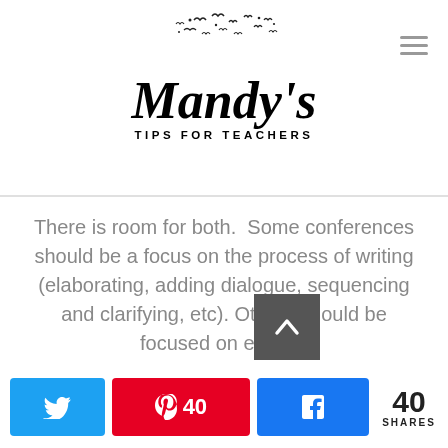Mandy's Tips for Teachers
There is room for both.  Some conferences should be a focus on the process of writing (elaborating, adding dialogue, sequencing and clarifying, etc). Others should be focused on editing.
*Soapbox Moment*
If your writing workshop time is only dedicated to the end product- a cute end craft with a piece of writing, an essay that will become a final draft, or a book that will be published, then you and your kids
40 SHARES (Twitter, Pinterest 40, Facebook)